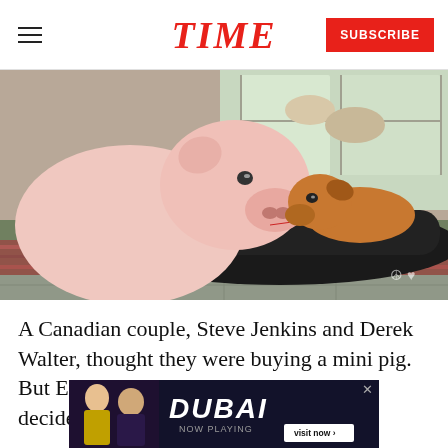TIME
[Figure (photo): A large pink pig standing on a rug next to a black lounger/chaise, with a brown dog lying on the lounger looking toward the pig. Indoor home setting with windows in the background.]
A Canadian couple, Steve Jenkins and Derek Walter, thought they were buying a mini pig. But Esther grew to be 667 pounds. They decided to keep her, and became...
[Figure (screenshot): Advertisement overlay: Dubai - Now Playing, with visit now button and two people pictured on the left side.]